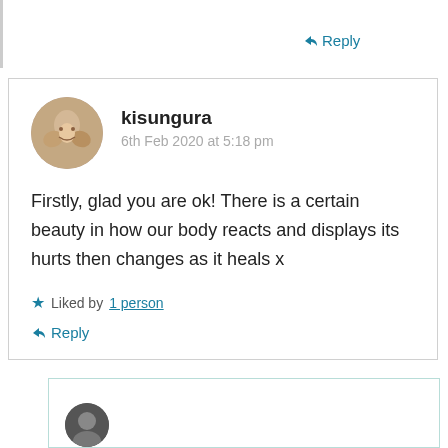↳ Reply
kisungura
6th Feb 2020 at 5:18 pm
Firstly, glad you are ok! There is a certain beauty in how our body reacts and displays its hurts then changes as it heals x
★ Liked by 1 person
↳ Reply